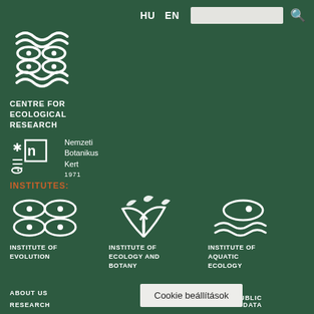HU  EN
[Figure (logo): Centre for Ecological Research logo — stylized white wave and fish motif on dark green background]
CENTRE FOR ECOLOGICAL RESEARCH
[Figure (logo): Nemzeti Botanikus Kert logo with snowflake and N symbol, text: Nemzeti Botanikus Kert 1971]
INSTITUTES:
[Figure (logo): Institute of Evolution logo — white wave fish pattern]
INSTITUTE OF EVOLUTION
[Figure (logo): Institute of Ecology and Botany logo — white leaf/plant motif]
INSTITUTE OF ECOLOGY AND BOTANY
[Figure (logo): Institute of Aquatic Ecology logo — white wave motif]
INSTITUTE OF AQUATIC ECOLOGY
ABOUT US
RESEARCH
BASIC AND PUBLIC DATA
Cookie beállítások